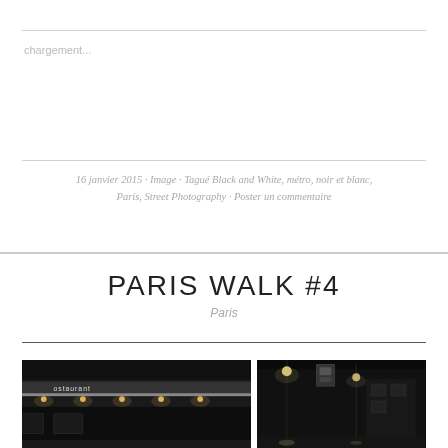chargement...
16 janvier 2015 · Image · Tagué Black and White, métro, noir et blanc, Paris, Street Photography · Poster un commentaire
PARIS WALK #4
Paris
[Figure (photo): Two black and white street photography images showing Paris street scenes at night - left image shows a restaurant exterior with illuminated signage, right image shows a nighttime street scene with lights]